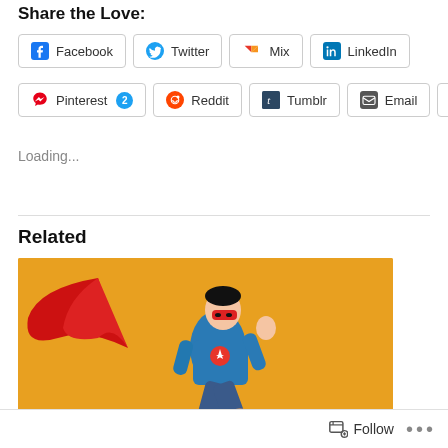Share the Love:
Facebook | Twitter | Mix | LinkedIn | Pinterest 2 | Reddit | Tumblr | Email | Pocket
Loading...
Related
[Figure (photo): A person dressed as a superhero in a blue t-shirt and jeans with a red cape and red mask, running/leaping against an orange background.]
Follow ...